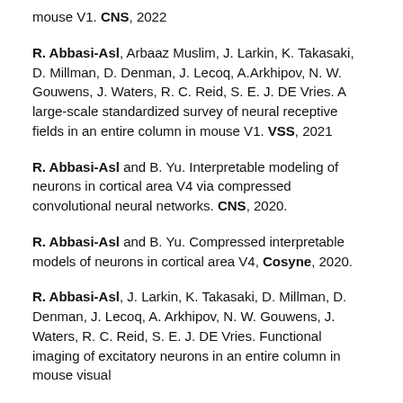mouse V1. CNS, 2022
R. Abbasi-Asl, Arbaaz Muslim, J. Larkin, K. Takasaki, D. Millman, D. Denman, J. Lecoq, A.Arkhipov, N. W. Gouwens, J. Waters, R. C. Reid, S. E. J. DE Vries. A large-scale standardized survey of neural receptive fields in an entire column in mouse V1. VSS, 2021
R. Abbasi-Asl and B. Yu. Interpretable modeling of neurons in cortical area V4 via compressed convolutional neural networks. CNS, 2020.
R. Abbasi-Asl and B. Yu. Compressed interpretable models of neurons in cortical area V4, Cosyne, 2020.
R. Abbasi-Asl, J. Larkin, K. Takasaki, D. Millman, D. Denman, J. Lecoq, A. Arkhipov, N. W. Gouwens, J. Waters, R. C. Reid, S. E. J. DE Vries. Functional imaging of excitatory neurons in an entire column in mouse visual